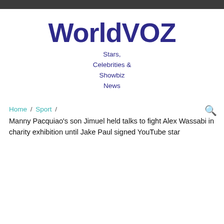WorldVOZ
Stars, Celebrities & Showbiz News
Home / Sport /
Manny Pacquiao's son Jimuel held talks to fight Alex Wassabi in charity exhibition until Jake Paul signed YouTube star